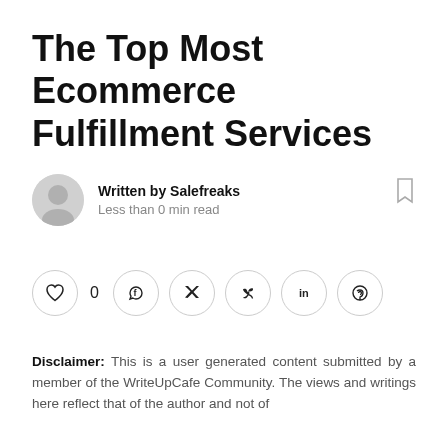The Top Most Ecommerce Fulfillment Services
Written by Salefreaks
Less than 0 min read
[Figure (infographic): Social sharing bar with heart/like icon showing 0 likes, followed by circular icon buttons for Facebook, Twitter, Pinterest, LinkedIn, and WhatsApp]
Disclaimer: This is a user generated content submitted by a member of the WriteUpCafe Community. The views and writings here reflect that of the author and not of